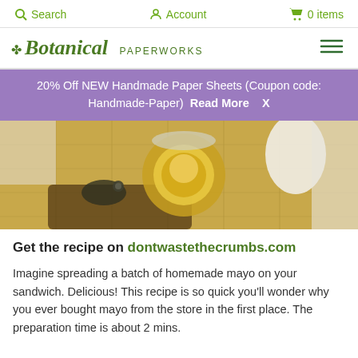Search  Account  0 items
Botanical PAPERWORKS
20% Off NEW Handmade Paper Sheets (Coupon code: Handmade-Paper)  Read More  X
[Figure (photo): Photo of a small glass jar of oil on burlap with a spoon/key and a white egg, food ingredients for homemade mayo]
Get the recipe on dontwastethecrumbs.com
Imagine spreading a batch of homemade mayo on your sandwich. Delicious! This recipe is so quick you'll wonder why you ever bought mayo from the store in the first place. The preparation time is about 2 mins.